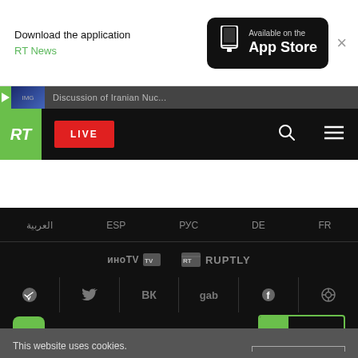Download the application RT News — Available on the App Store
[Figure (screenshot): RT website navigation bar with green RT logo, red LIVE button, search and menu icons on black background]
العربية  ESP  РУС  DE  FR
[Figure (logo): иноTV logo and RT News/Ruptly brand logos in footer]
[Figure (infographic): Social media icons row: Telegram, Twitter, VK, gab, Facebook, Odysee]
[Figure (logo): RT News App logo and RT SHOP button]
This website uses cookies. Read RT Privacy policy to find out more.
Accept cookies